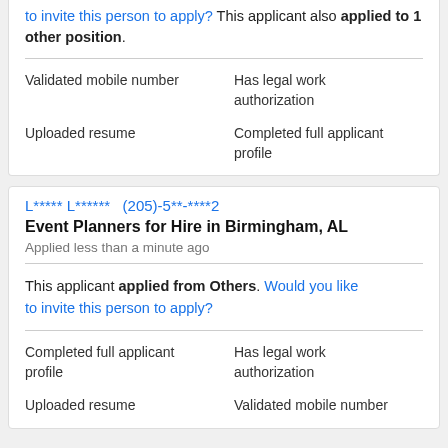to invite this person to apply? This applicant also applied to 1 other position.
| Validated mobile number | Has legal work authorization |
| Uploaded resume | Completed full applicant profile |
L***** L******   (205)-5**-****2
Event Planners for Hire in Birmingham, AL
Applied less than a minute ago
This applicant applied from Others. Would you like to invite this person to apply?
| Completed full applicant profile | Has legal work authorization |
| Uploaded resume | Validated mobile number |